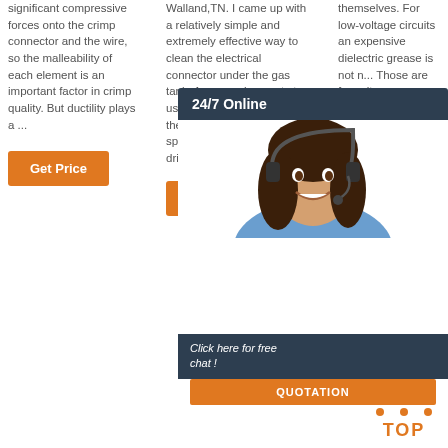significant compressive forces onto the crimp connector and the wire, so the malleability of each element is an important factor in crimp quality. But ductility plays a ...
Walland,TN. I came up with a relatively simple and extremely effective way to clean the electrical connector under the gas tank. Anyone who wants to use this technique will need the following: 1. variable speed, reversible electric drill. 2. very ...
themselves. For low-voltage circuits an expensive dielectric grease is not n... Those are for voltage applica... grease ... to help conne...
[Figure (photo): Chat popup overlay with 24/7 Online header, photo of smiling woman with headset, 'Click here for free chat!' text, and QUOTATION button]
Get Price
Get Price
Get Price
[Figure (other): TOP icon with orange dots arranged in triangle above the word TOP in orange]